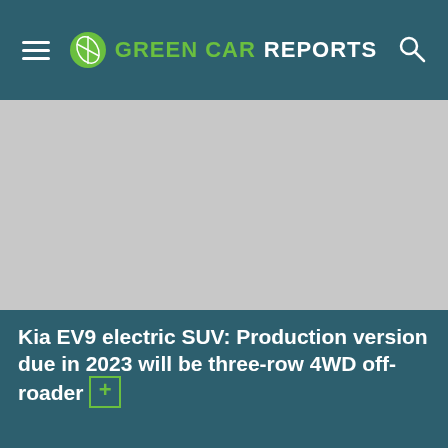GREEN CAR REPORTS
[Figure (photo): Gray/white image area placeholder, likely showing a Kia EV9 concept vehicle]
Kia EV9 electric SUV: Production version due in 2023 will be three-row 4WD off-roader